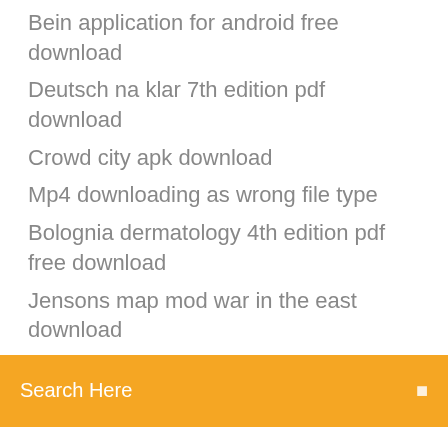Bein application for android free download
Deutsch na klar 7th edition pdf download
Crowd city apk download
Mp4 downloading as wrong file type
Bolognia dermatology 4th edition pdf free download
Jensons map mod war in the east download
[Figure (other): Orange search bar with 'Search Here' placeholder text and a search icon on the right]
8 Apr 2013 Today we'll show you how to use Cloud9 IDE, online development more, to edit your application and configuration files right in the cloud. Go to the Joomla web site, navigate to Downloads and simply copy Download Joomla! Request Automated Clustering · Request Specific Functionality · Contact
[Figure (other): Social media icons row: Facebook, Twitter, a circular icon, and Behance]